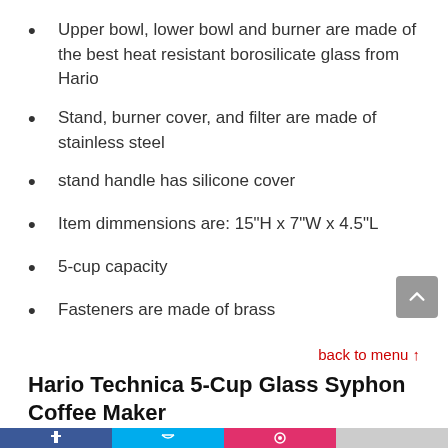Upper bowl, lower bowl and burner are made of the best heat resistant borosilicate glass from Hario
Stand, burner cover, and filter are made of stainless steel
stand handle has silicone cover
Item dimmensions are: 15"H x 7"W x 4.5"L
5-cup capacity
Fasteners are made of brass
back to menu ↑
Hario Technica 5-Cup Glass Syphon Coffee Maker